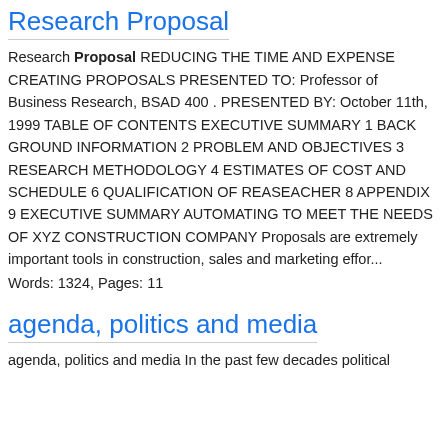Research Proposal
Research Proposal REDUCING THE TIME AND EXPENSE CREATING PROPOSALS PRESENTED TO: Professor of Business Research, BSAD 400 . PRESENTED BY: October 11th, 1999 TABLE OF CONTENTS EXECUTIVE SUMMARY 1 BACK GROUND INFORMATION 2 PROBLEM AND OBJECTIVES 3 RESEARCH METHODOLOGY 4 ESTIMATES OF COST AND SCHEDULE 6 QUALIFICATION OF REASEACHER 8 APPENDIX 9 EXECUTIVE SUMMARY AUTOMATING TO MEET THE NEEDS OF XYZ CONSTRUCTION COMPANY Proposals are extremely important tools in construction, sales and marketing effor...
Words: 1324, Pages: 11
agenda, politics and media
agenda, politics and media In the past few decades political